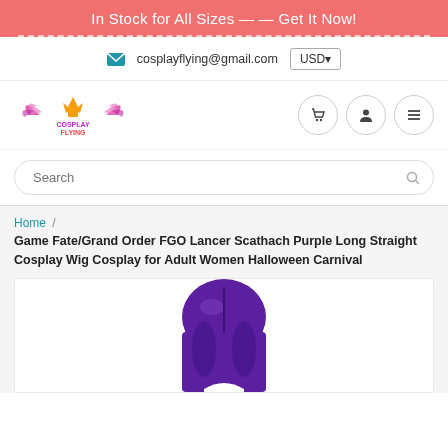In Stock for All Sizes — — Get It Now!
✉ cosplayflying@gmail.com  USD▾
[Figure (logo): CosplayFlying logo with stylized wings and text]
Search
Home / Game Fate/Grand Order FGO Lancer Scathach Purple Long Straight Cosplay Wig Cosplay for Adult Women Halloween Carnival
[Figure (photo): Purple long straight cosplay wig product photo showing the top portion of a purple wig on a white background]